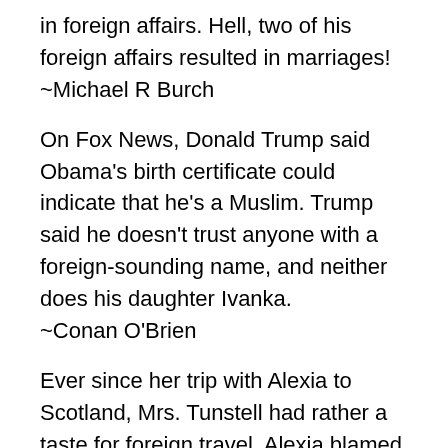in foreign affairs. Hell, two of his foreign affairs resulted in marriages!
~Michael R Burch
On Fox News, Donald Trump said Obama's birth certificate could indicate that he's a Muslim. Trump said he doesn't trust anyone with a foreign-sounding name, and neither does his daughter Ivanka.
~Conan O'Brien
Ever since her trip with Alexia to Scotland, Mrs. Tunstell had rather a taste for foreign travel. Alexia blamed it on the kilts.
~Gail Carriger
Don't take guilt trips. Take a trip to the mall, to the next county, to a foreign country, but NOT to where the guilt is.
~Conan O'Brien